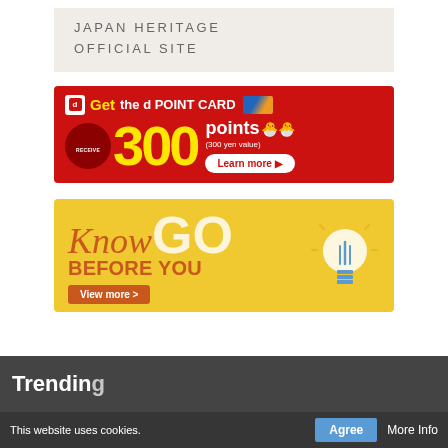[Figure (logo): Japan Heritage Official Site logo/header banner with text on light beige background]
[Figure (infographic): d POINT CARD advertisement banner on red background: Get the d POINT CARD, Receive 300 points (300 yen value), Learn more button]
[Figure (infographic): Know Before You Go advertisement banner on yellow background with lightbulb graphic and View more button]
Trending
This website uses cookies.
Agree
More Info